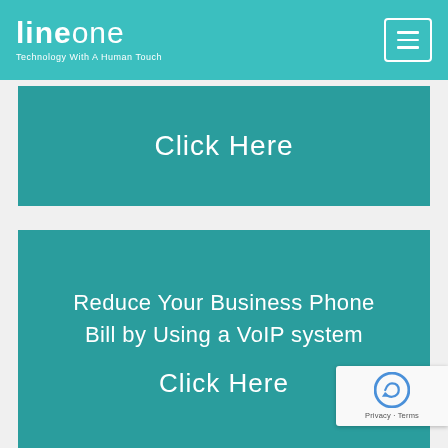LineOne - Technology With A Human Touch
Click Here
Reduce Your Business Phone Bill by Using a VoIP system
Click Here